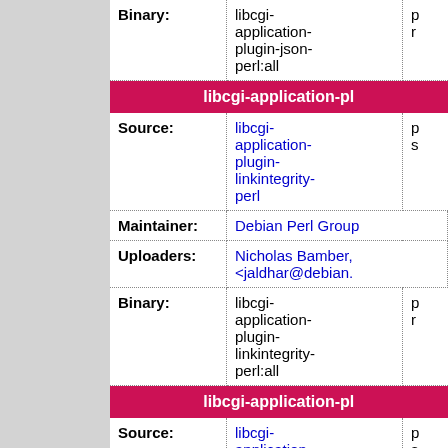| Field | Value | Extra |
| --- | --- | --- |
| Binary: | libcgi-application-plugin-json-perl:all | p r |
| libcgi-application-pl |  |  |
| Source: | libcgi-application-plugin-linkintegrity-perl | p s |
| Maintainer: | Debian Perl Group |  |
| Uploaders: | Nicholas Bamber, <jaldhar@debian. |  |
| Binary: | libcgi-application-plugin-linkintegrity-perl:all | p r |
| libcgi-application-pl |  |  |
| Source: | libcgi-application-plugin- | p s |